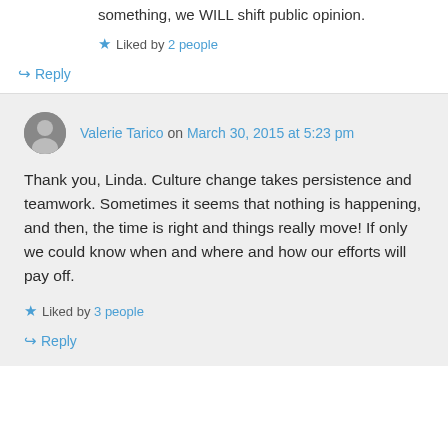something, we WILL shift public opinion.
★ Liked by 2 people
↪ Reply
Valerie Tarico on March 30, 2015 at 5:23 pm
Thank you, Linda. Culture change takes persistence and teamwork. Sometimes it seems that nothing is happening, and then, the time is right and things really move! If only we could know when and where and how our efforts will pay off.
★ Liked by 3 people
↪ Reply